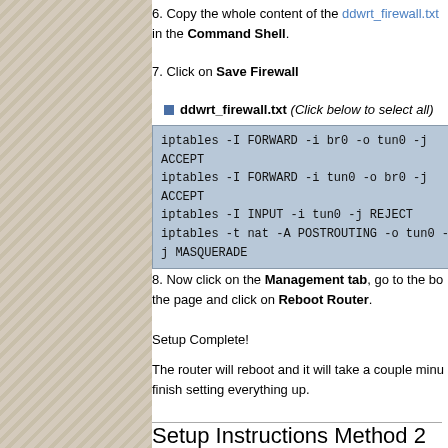6. Copy the whole content of the ddwrt_firewall.txt in the Command Shell.
7. Click on Save Firewall
ddwrt_firewall.txt (Click below to select all)
[Figure (screenshot): Code block with blue background showing four iptables commands]
8. Now click on the Management tab, go to the bottom of the page and click on Reboot Router.
Setup Complete!
The router will reboot and it will take a couple minutes to finish setting everything up.
Setup Instructions Method 2